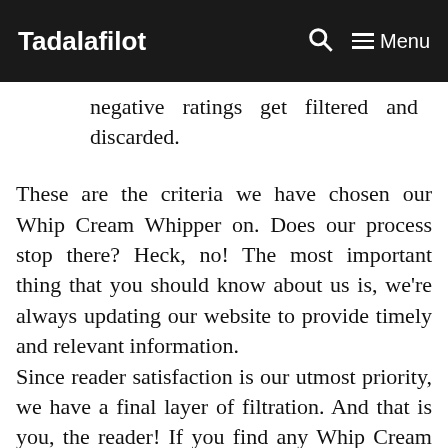Tadalafilot   Menu
negative ratings get filtered and discarded.
These are the criteria we have chosen our Whip Cream Whipper on. Does our process stop there? Heck, no! The most important thing that you should know about us is, we're always updating our website to provide timely and relevant information.
Since reader satisfaction is our utmost priority, we have a final layer of filtration. And that is you, the reader! If you find any Whip Cream Whipper featured here Incorrect, irrelevant, not up to the mark, or simply outdated, please let us know. Your feedback is always welcome